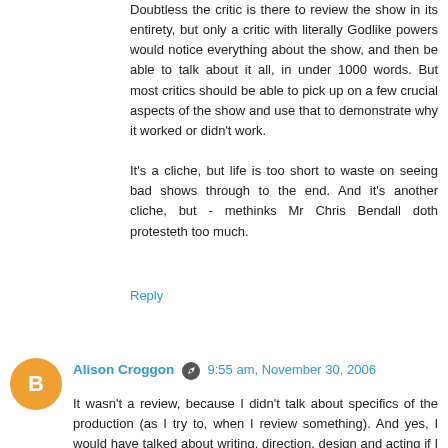Doubtless the critic is there to review the show in its entirety, but only a critic with literally Godlike powers would notice everything about the show, and then be able to talk about it all, in under 1000 words. But most critics should be able to pick up on a few crucial aspects of the show and use that to demonstrate why it worked or didn't work.

It's a cliche, but life is too short to waste on seeing bad shows through to the end. And it's another cliche, but - methinks Mr Chris Bendall doth protesteth too much.
Reply
Alison Croggon  9:55 am, November 30, 2006
It wasn't a review, because I didn't talk about specifics of the production (as I try to, when I review something). And yes, I would have talked about writing, direction, design and acting if I had reviewed it. But I didn't, because it wasn't a review. Now I'm talking in circles.

I obviously had a visceral response - removing one's body is as visceral as it gets. I actually have all sympathy for